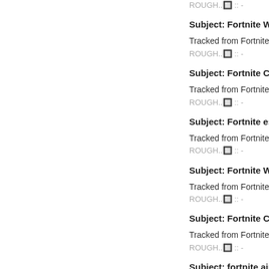ROUGH..🔲 :: -
Subject: Fortnite Wallhack
Tracked from Fortnite Wallhack
ROUGH..🔲 :: -
Subject: Fortnite Cheat
Tracked from Fortnite Cheat 202
ROUGH..🔲 :: -
Subject: Fortnite esp
Tracked from Fortnite esp 20200
ROUGH..🔲 :: -
Subject: Fortnite Wallhack
Tracked from Fortnite Wallhack
ROUGH..🔲 :: -
Subject: Fortnite Cheat
Tracked from Fortnite Cheat 202
ROUGH..🔲 :: -
Subject: fortnite aimbot
Tracked from fortnite aimbot 20
ROUGH..🔲 :: -